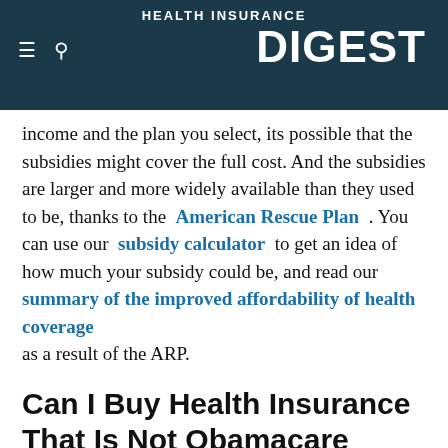HEALTH INSURANCE DIGEST
income and the plan you select, its possible that the subsidies might cover the full cost. And the subsidies are larger and more widely available than they used to be, thanks to the American Rescue Plan . You can use our subsidy calculator to get an idea of how much your subsidy could be, and read our summary of the improved affordability of health coverage as a result of the ARP.
Can I Buy Health Insurance That Is Not Obamacare
There are plenty of health plans available directly